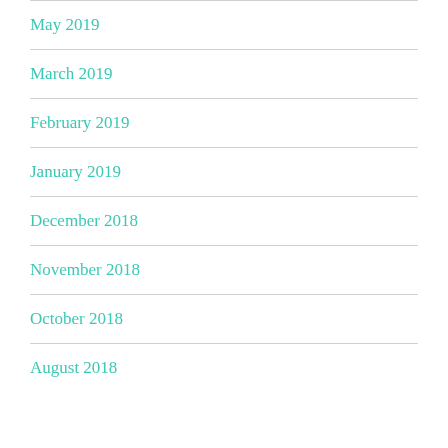May 2019
March 2019
February 2019
January 2019
December 2018
November 2018
October 2018
August 2018